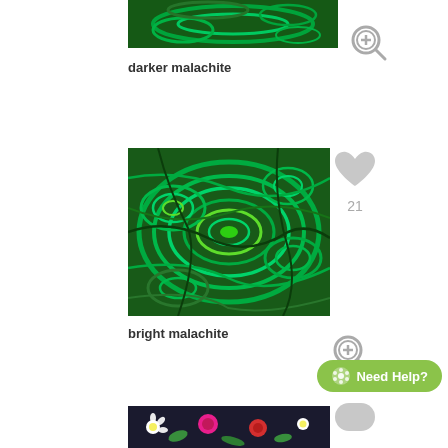[Figure (photo): Cropped top portion of a dark green malachite mineral pattern texture image]
[Figure (illustration): Gray magnifying glass with plus sign zoom icon]
darker malachite
[Figure (illustration): Gray heart icon with count 21]
[Figure (photo): Bright green malachite mineral pattern texture image showing swirling concentric ring patterns]
[Figure (illustration): Gray magnifying glass with plus sign zoom icon]
bright malachite
[Figure (illustration): Need Help? button with flower icon in green pill shape]
[Figure (photo): Partially visible floral pattern fabric with white daisies and colorful roses on dark background]